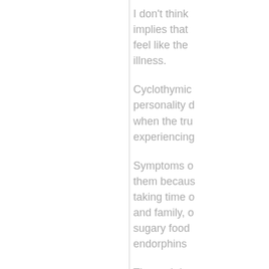I don't think implies that feel like the illness.
Cyclothymic personality d when the tru experiencing
Symptoms o them becau taking time  and family, sugary food endorphins
The truth is